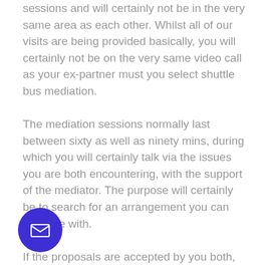sessions and will certainly not be in the very same area as each other. Whilst all of our visits are being provided basically, you will certainly not be on the very same video call as your ex-partner must you select shuttle bus mediation.
The mediation sessions normally last between sixty as well as ninety mins, during which you will certainly talk via the issues you are both encountering, with the support of the mediator. The purpose will certainly be to search for an arrangement you can both live with.
If the proposals are accepted by you both, these are after that composed up by the family mediator right into a Parenting Plan or a Memorandum of Understanding (MOU) with an Open Financial Statement.
[Figure (other): Purple circular email button with envelope icon]